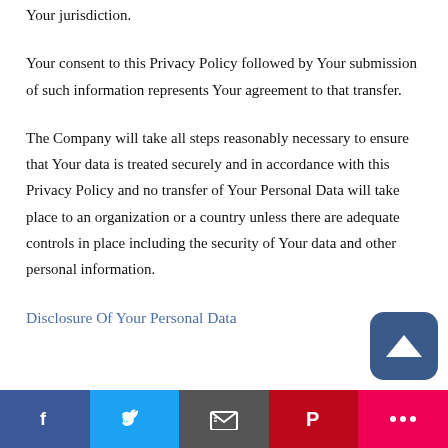Your jurisdiction.
Your consent to this Privacy Policy followed by Your submission of such information represents Your agreement to that transfer.
The Company will take all steps reasonably necessary to ensure that Your data is treated securely and in accordance with this Privacy Policy and no transfer of Your Personal Data will take place to an organization or a country unless there are adequate controls in place including the security of Your data and other personal information.
Disclosure Of Your Personal Data